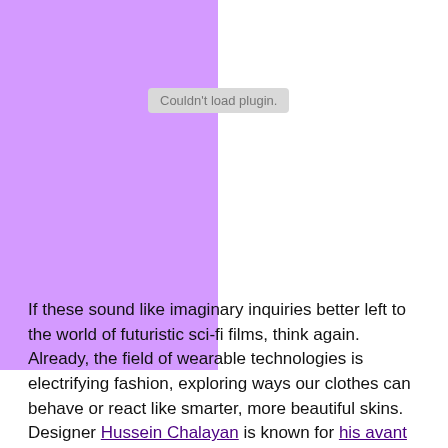[Figure (other): Purple/lavender rectangular block occupying the left portion of the upper page area, with a 'Couldn't load plugin.' message centered in the middle area where the plugin would appear.]
If these sound like imaginary inquiries better left to the world of futuristic sci-fi films, think again. Already, the field of wearable technologies is electrifying fashion, exploring ways our clothes can behave or react like smarter, more beautiful skins. Designer Hussein Chalayan is known for his avant garde work with wearables, exploring how robotic elements can create extraordinary displays of movement and light. Joanna Berzowska